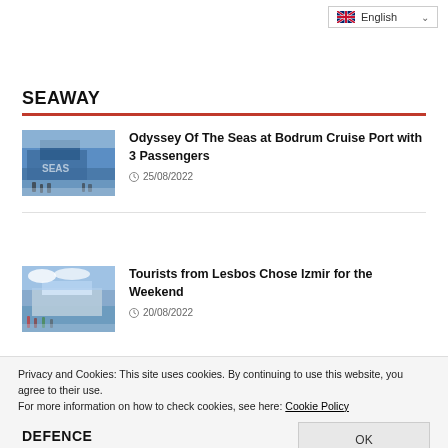English
SEAWAY
[Figure (photo): Cruise ship Odyssey of the Seas docked at Bodrum Cruise Port with passengers on the dock]
Odyssey Of The Seas at Bodrum Cruise Port with 3 Passengers
25/08/2022
[Figure (photo): Ferry or cruise ship docked at a port with tourists boarding, Lesbos to Izmir route]
Tourists from Lesbos Chose Izmir for the Weekend
20/08/2022
Privacy and Cookies: This site uses cookies. By continuing to use this website, you agree to their use.
For more information on how to check cookies, see here: Cookie Policy
DEFENCE